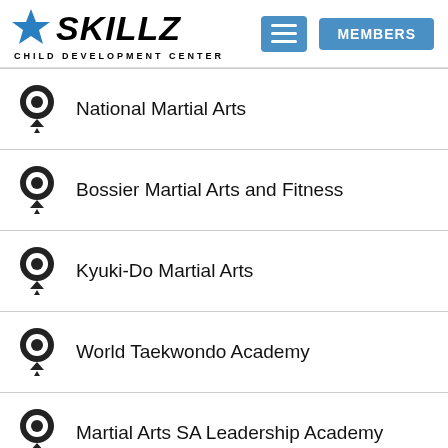[Figure (logo): Skillz Child Development Center logo with blue star and text, hamburger menu button, and MEMBERS button]
National Martial Arts
Bossier Martial Arts and Fitness
Kyuki-Do Martial Arts
World Taekwondo Academy
Martial Arts SA Leadership Academy